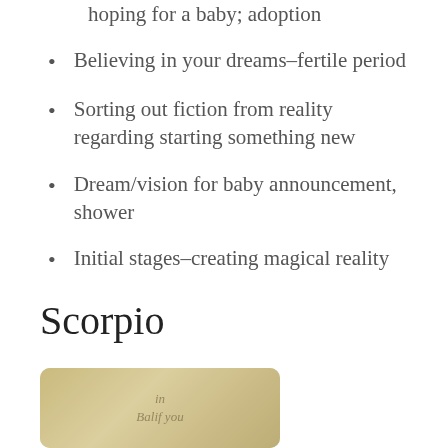hoping for a baby; adoption
Believing in your dreams–fertile period
Sorting out fiction from reality regarding starting something new
Dream/vision for baby announcement, shower
Initial stages–creating magical reality
Scorpio
[Figure (photo): Partial view of an old, aged document or card with handwritten text, beige/tan colored, with rounded corners, partially cropped at the bottom of the page.]